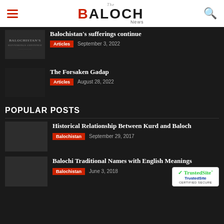The Baloch News
Balochistan's sufferings continue
Articles  September 3, 2022
The Forsaken Gadap
Articles  August 28, 2022
POPULAR POSTS
Historical Relationship Between Kurd and Baloch
Balochistan  September 29, 2017
Balochi Traditional Names with English Meanings
Balochistan  June 3, 2018